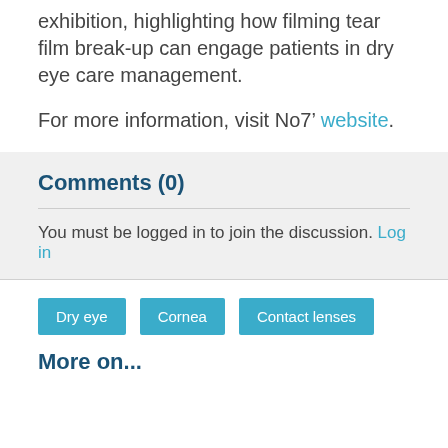exhibition, highlighting how filming tear film break-up can engage patients in dry eye care management.
For more information, visit No7’ website.
Comments (0)
You must be logged in to join the discussion. Log in
Dry eye
Cornea
Contact lenses
More on...